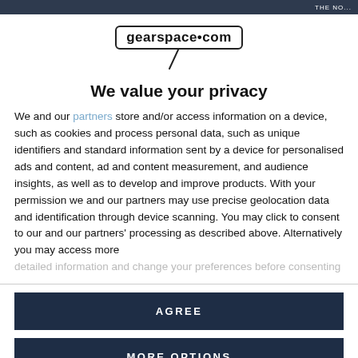THE NO...
[Figure (logo): gearspace.com logo in rounded rectangle border with microphone cable graphic below]
We value your privacy
We and our partners store and/or access information on a device, such as cookies and process personal data, such as unique identifiers and standard information sent by a device for personalised ads and content, ad and content measurement, and audience insights, as well as to develop and improve products. With your permission we and our partners may use precise geolocation data and identification through device scanning. You may click to consent to our and our partners' processing as described above. Alternatively you may access more detailed information and change your preferences before consenting
AGREE
MORE OPTIONS
click